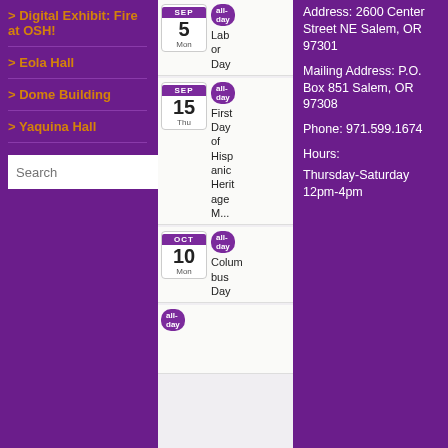> Digital Exhibit: Fire at OSH!
> Eola Hall
> Dome Building
> Yaquina Hall
Search [search box with button]
SEP 5 Mon | all-day | Labor Day
SEP 15 Thu | all-day | First Day of Hispanic Heritage M...
OCT 10 Mon | all-day | Columbus Day
all-day [partial entry visible]
Address: 2600 Center Street NE Salem, OR 97301
Mailing Address: P.O. Box 851 Salem, OR 97308
Phone: 971.599.1674
Hours:
Thursday-Saturday 12pm-4pm